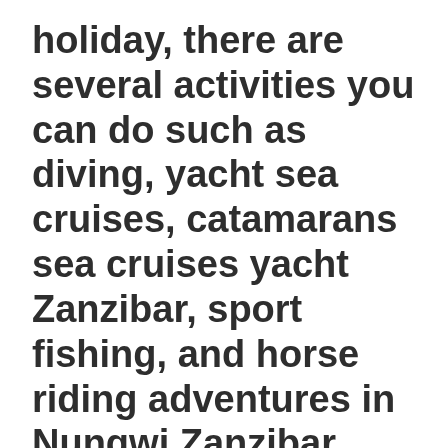holiday, there are several activities you can do such as diving, yacht sea cruises, catamarans sea cruises yacht Zanzibar, sport fishing, and horse riding adventures in Nungwi Zanzibar.
Horse rides in Arusha is another ecotourism safari adventure trip available. Horse riding in northern Tanzania is run and managed at the equestrian base located outside Arusha city, at the USA river area. While you are not on safari or before the Kilimanjaro trek, horse riding is the solution. The horse base is located at an altitude of 1400 meters above sea